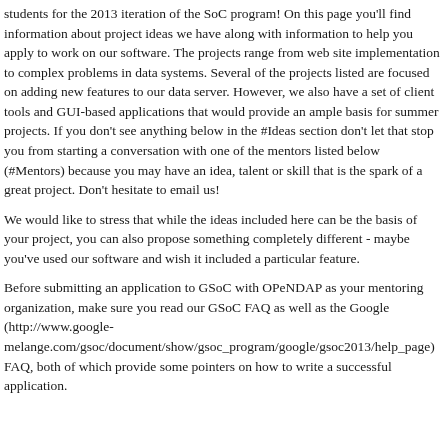students for the 2013 iteration of the SoC program! On this page you'll find information about project ideas we have along with information to help you apply to work on our software. The projects range from web site implementation to complex problems in data systems. Several of the projects listed are focused on adding new features to our data server. However, we also have a set of client tools and GUI-based applications that would provide an ample basis for summer projects. If you don't see anything below in the #Ideas section don't let that stop you from starting a conversation with one of the mentors listed below (#Mentors) because you may have an idea, talent or skill that is the spark of a great project. Don't hesitate to email us!
We would like to stress that while the ideas included here can be the basis of your project, you can also propose something completely different - maybe you've used our software and wish it included a particular feature.
Before submitting an application to GSoC with OPeNDAP as your mentoring organization, make sure you read our GSoC FAQ as well as the Google (http://www.google-melange.com/gsoc/document/show/gsoc_program/google/gsoc2013/help_page) FAQ, both of which provide some pointers on how to write a successful application.